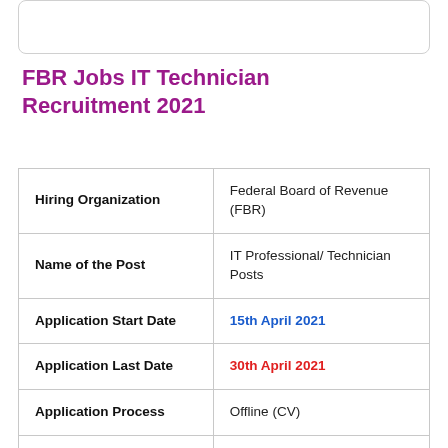FBR Jobs IT Technician Recruitment 2021
|  |  |
| --- | --- |
| Hiring Organization | Federal Board of Revenue (FBR) |
| Name of the Post | IT Professional/ Technician Posts |
| Application Start Date | 15th April 2021 |
| Application Last Date | 30th April 2021 |
| Application Process | Offline (CV) |
| Selection Process | Interview |